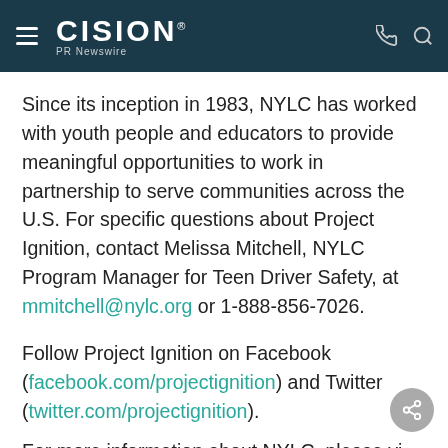CISION PR Newswire
Since its inception in 1983, NYLC has worked with youth people and educators to provide meaningful opportunities to work in partnership to serve communities across the U.S. For specific questions about Project Ignition, contact Melissa Mitchell, NYLC Program Manager for Teen Driver Safety, at mmitchell@nylc.org or 1-888-856-7026.
Follow Project Ignition on Facebook (facebook.com/projectignition) and Twitter (twitter.com/projectignition).
For more information about NYLC, please visit